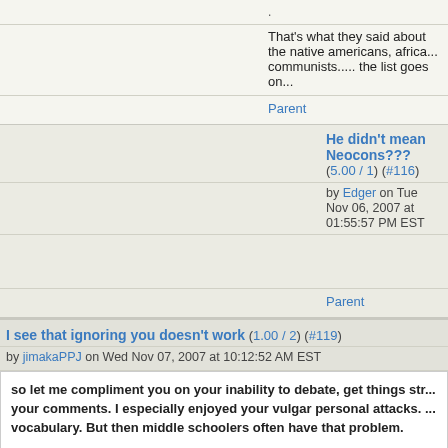.
That's what they said about the native americans, africa... communists..... the list goes on...
Parent
He didn't mean Neocons??? (5.00 / 1) (#116)
by Edger on Tue Nov 06, 2007 at 01:55:57 PM EST
Parent
I see that ignoring you doesn't work (1.00 / 2) (#119)
by jimakaPPJ on Wed Nov 07, 2007 at 10:12:52 AM EST
so let me compliment you on your inability to debate, get things str... your comments. I especially enjoyed your vulgar personal attacks. ... vocabulary. But then middle schoolers often have that problem.
How goes repeating the seventh grade??
Now, since you haven't kept up, let me hit some highlights for you.
The debate is over what is torture. I say waterboarding is not. Read the ... not.
I have never said we should use waterboarding, or torture, to obtain info... otherwi... What do you make of this case?